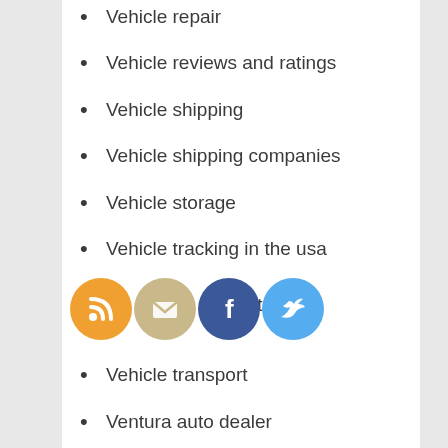Vehicle repair
Vehicle reviews and ratings
Vehicle shipping
Vehicle shipping companies
Vehicle storage
Vehicle tracking in the usa
Truck and value tacoma
[Figure (infographic): Four social media/sharing icons: RSS (orange), Email (tan/gold), Facebook (dark blue), Twitter (light blue)]
Vehicle transport
Ventura auto dealer
Victory bikes
Victory dealer maryland
Vintage mercedes parts